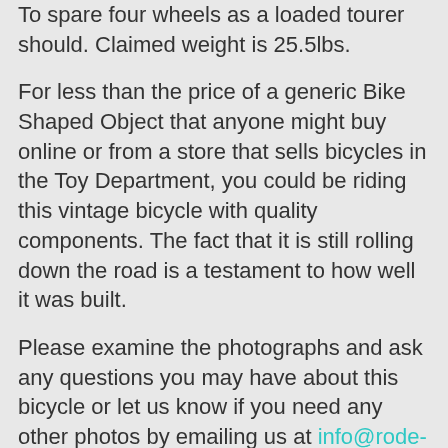To spare four wheels as a loaded tourer should. Claimed weight is 25.5lbs.
For less than the price of a generic Bike Shaped Object that anyone might buy online or from a store that sells bicycles in the Toy Department, you could be riding this vintage bicycle with quality components. The fact that it is still rolling down the road is a testament to how well it was built.
Please examine the photographs and ask any questions you may have about this bicycle or let us know if you need any other photos by emailing us at info@rode-bike.com